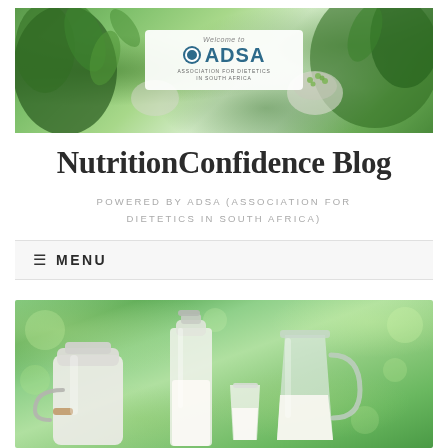[Figure (photo): ADSA (Association for Dietetics in South Africa) banner with green vegetables and herbs in background, white logo box in center showing 'Welcome to ADSA – Association for Dietetics in South Africa']
NutritionConfidence Blog
POWERED BY ADSA (ASSOCIATION FOR DIETETICS IN SOUTH AFRICA)
MENU
[Figure (photo): Photo of dairy products: a white milk can with wooden handle, a glass milk bottle, and a glass milk pitcher, set against a green bokeh background]